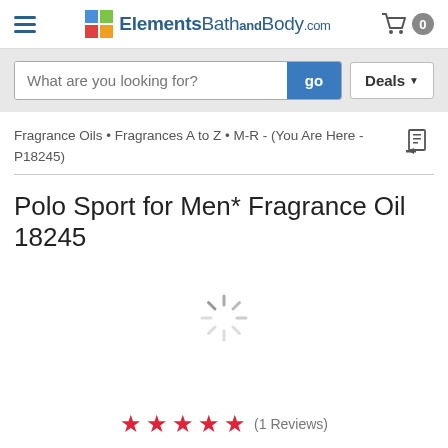ElementsBathandBody.com
What are you looking for?  go  Deals
Fragrance Oils • Fragrances A to Z • M-R - (You Are Here - P18245)
Polo Sport for Men* Fragrance Oil 18245
[Figure (other): Loading spinner / activity indicator]
(1 Reviews)